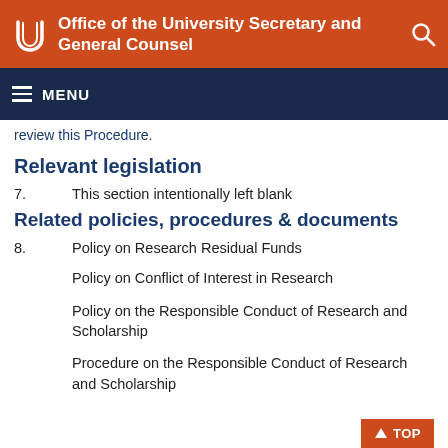Office of the University Secretary and General Counsel
review this Procedure.
Relevant legislation
7.   This section intentionally left blank
Related policies, procedures & documents
8.   Policy on Research Residual Funds
Policy on Conflict of Interest in Research
Policy on the Responsible Conduct of Research and Scholarship
Procedure on the Responsible Conduct of Research and Scholarship